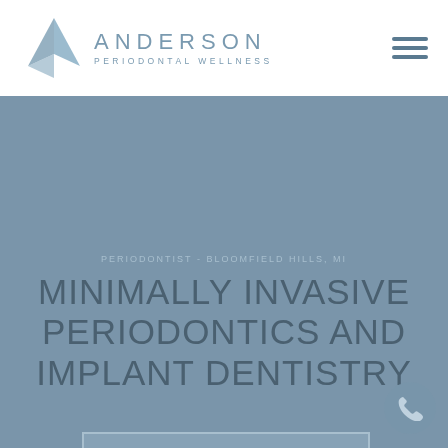[Figure (logo): Anderson Periodontal Wellness logo with geometric arrow icon in blue-grey and text 'ANDERSON PERIODONTAL WELLNESS']
PERIODONTIST - BLOOMFIELD HILLS, MI
MINIMALLY INVASIVE PERIODONTICS AND IMPLANT DENTISTRY
SCHEDULE CONSULTATION
WATCH VIDEO